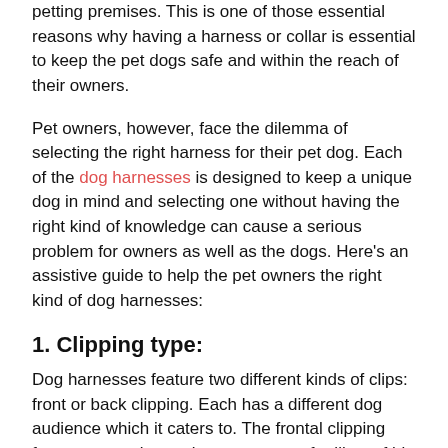petting premises. This is one of those essential reasons why having a harness or collar is essential to keep the pet dogs safe and within the reach of their owners.
Pet owners, however, face the dilemma of selecting the right harness for their pet dog. Each of the dog harnesses is designed to keep a unique dog in mind and selecting one without having the right kind of knowledge can cause a serious problem for owners as well as the dogs. Here's an assistive guide to help the pet owners the right kind of dog harnesses:
1. Clipping type:
Dog harnesses feature two different kinds of clips: front or back clipping. Each has a different dog audience which it caters to. The frontal clipping features a neck-centric arrangement for likes of big dog breeds like a bloodhound, great dane, etc. as well